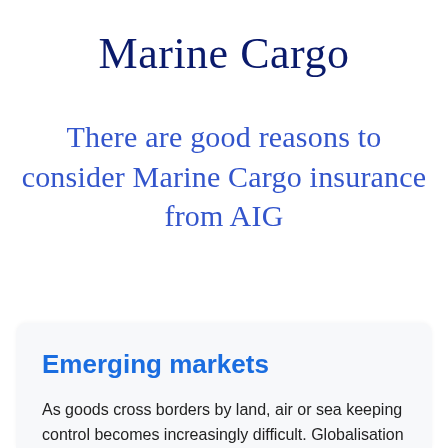Marine Cargo
There are good reasons to consider Marine Cargo insurance from AIG
Emerging markets
As goods cross borders by land, air or sea keeping control becomes increasingly difficult. Globalisation